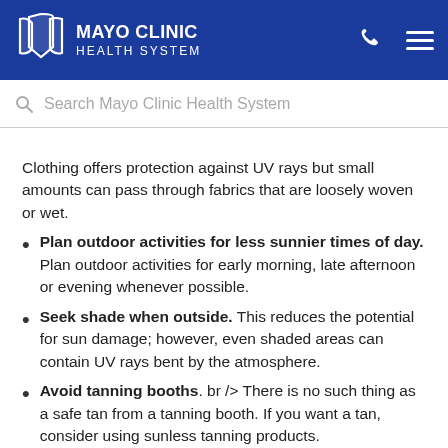Mayo Clinic Health System
Search Mayo Clinic Health System
Clothing offers protection against UV rays but small amounts can pass through fabrics that are loosely woven or wet.
Plan outdoor activities for less sunnier times of day. Plan outdoor activities for early morning, late afternoon or evening whenever possible.
Seek shade when outside. This reduces the potential for sun damage; however, even shaded areas can contain UV rays bent by the atmosphere.
Avoid tanning booths. br /> There is no such thing as a safe tan from a tanning booth. If you want a tan, consider using sunless tanning products.